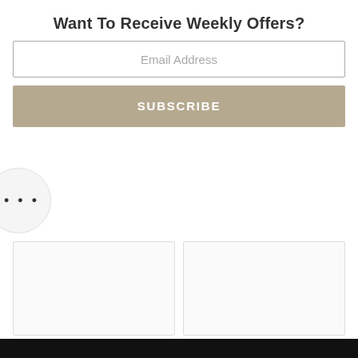Want To Receive Weekly Offers?
Email Address
SUBSCRIBE
[Figure (other): Circular button with three dots (ellipsis) indicating more options]
[Figure (other): Two blank card placeholders side by side]